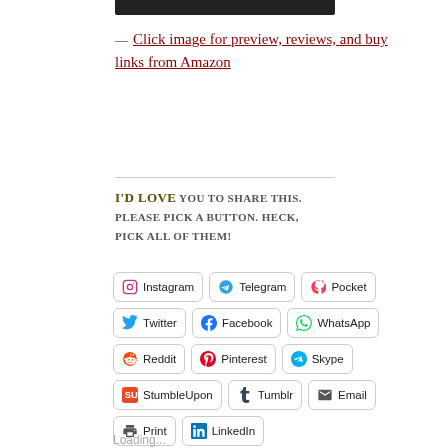[Figure (screenshot): Cropped top portion of a book cover image (dark/black background visible)]
— Click image for preview, reviews, and buy links from Amazon
I'd LOVE you to share this. Please pick a button. Heck, pick all of them!
Instagram  Telegram  Pocket  Twitter  Facebook  WhatsApp  Reddit  Pinterest  Skype  StumbleUpon  Tumblr  Email  Print  LinkedIn
Loading...